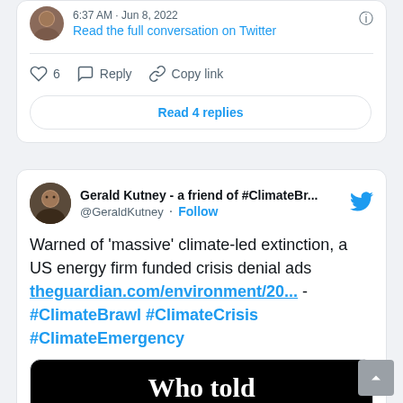[Figure (screenshot): Top portion of a Twitter tweet card showing timestamp '6:37 AM · Jun 8, 2022', a profile avatar, 'Read the full conversation on Twitter' link, like count of 6, Reply button, Copy link button, and 'Read 4 replies' button.]
[Figure (screenshot): Twitter tweet card by Gerald Kutney (@GeraldKutney) with Follow button and Twitter bird logo. Tweet text: Warned of 'massive' climate-led extinction, a US energy firm funded crisis denial ads theguardian.com/environment/20... - #ClimateBrawl #ClimateCrisis #ClimateEmergency. Shows partial article preview image with 'Who told' text visible.]